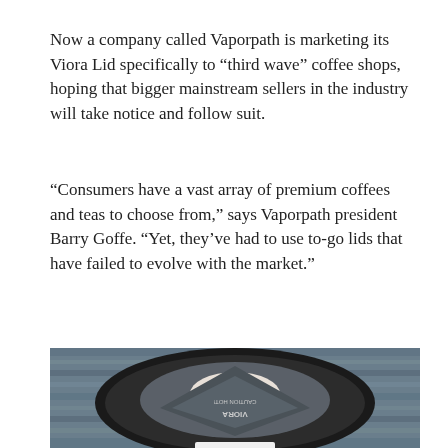Now a company called Vaporpath is marketing its Viora Lid specifically to “third wave” coffee shops, hoping that bigger mainstream sellers in the industry will take notice and follow suit.
“Consumers have a vast array of premium coffees and teas to choose from,” says Vaporpath president Barry Goffe. “Yet, they’ve had to use to-go lids that have failed to evolve with the market.”
[Figure (photo): Top-down photo of a Viora lid on a to-go coffee cup, resting on a weathered wood surface. The lid is dark/black with a geometric angular design showing 'VIORA' and 'CAUTION HOT!' text (mirrored from this angle) in the center panel.]